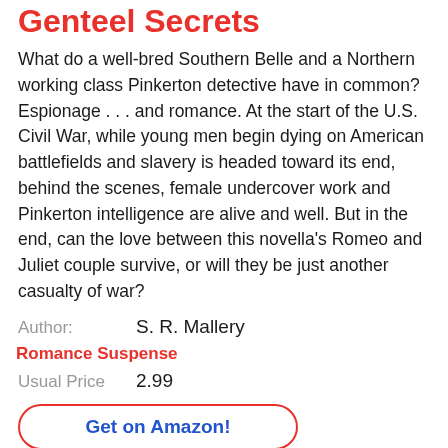Genteel Secrets
What do a well-bred Southern Belle and a Northern working class Pinkerton detective have in common? Espionage . . . and romance. At the start of the U.S. Civil War, while young men begin dying on American battlefields and slavery is headed toward its end, behind the scenes, female undercover work and Pinkerton intelligence are alive and well. But in the end, can the love between this novella's Romeo and Juliet couple survive, or will they be just another casualty of war?
Author: S. R. Mallery
Romance Suspense
Usual Price 2.99
Get on Amazon!